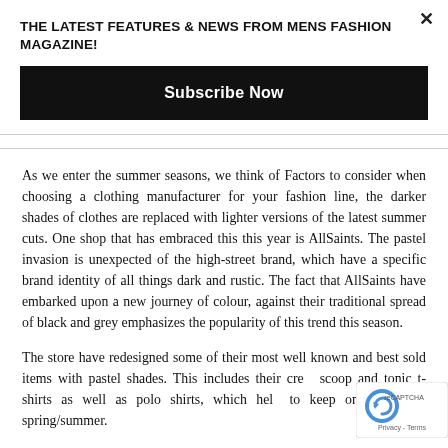THE LATEST FEATURES & NEWS FROM MENS FASHION MAGAZINE!
Subscribe Now
As we enter the summer seasons, we think of Factors to consider when choosing a clothing manufacturer for your fashion line, the darker shades of clothes are replaced with lighter versions of the latest summer cuts. One shop that has embraced this this year is AllSaints. The pastel invasion is unexpected of the high-street brand, which have a specific brand identity of all things dark and rustic. The fact that AllSaints have embarked upon a new journey of colour, against their traditional spread of black and grey emphasizes the popularity of this trend this season.
The store have redesigned some of their most well known and best sold items with pastel shades. This includes their crew scoop and tonic t-shirts as well as polo shirts, which help to keep on trend this spring/summer.
[Figure (other): reCAPTCHA badge with logo and Privacy - Terms text]